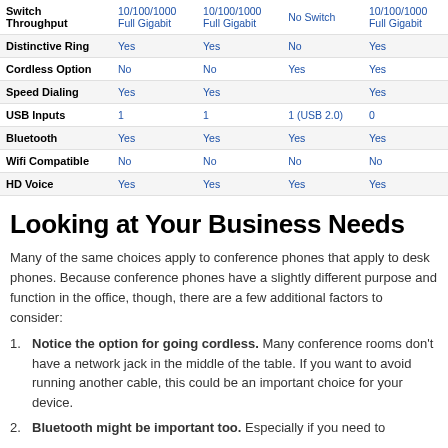|  | Col1 | Col2 | Col3 | Col4 |
| --- | --- | --- | --- | --- |
| Switch Throughput | 10/100/1000 Full Gigabit | 10/100/1000 Full Gigabit | No Switch | 10/100/1000 Full Gigabit |
| Distinctive Ring | Yes | Yes | No | Yes |
| Cordless Option | No | No | Yes | Yes |
| Speed Dialing | Yes | Yes |  | Yes |
| USB Inputs | 1 | 1 | 1 (USB 2.0) | 0 |
| Bluetooth | Yes | Yes | Yes | Yes |
| Wifi Compatible | No | No | No | No |
| HD Voice | Yes | Yes | Yes | Yes |
Looking at Your Business Needs
Many of the same choices apply to conference phones that apply to desk phones. Because conference phones have a slightly different purpose and function in the office, though, there are a few additional factors to consider:
Notice the option for going cordless. Many conference rooms don't have a network jack in the middle of the table. If you want to avoid running another cable, this could be an important choice for your device.
Bluetooth might be important too. Especially if you need to